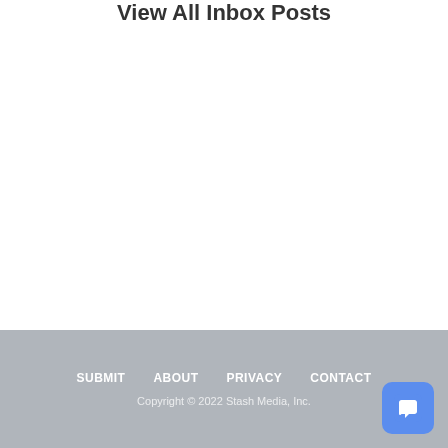View All Inbox Posts
SUBMIT   ABOUT   PRIVACY   CONTACT
Copyright © 2022 Stash Media, Inc.